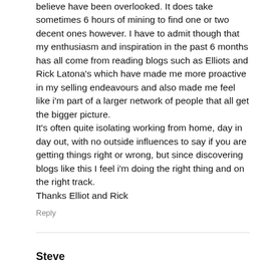believe have been overlooked. It does take sometimes 6 hours of mining to find one or two decent ones however. I have to admit though that my enthusiasm and inspiration in the past 6 months has all come from reading blogs such as Elliots and Rick Latona's which have made me more proactive in my selling endeavours and also made me feel like i'm part of a larger network of people that all get the bigger picture.
It's often quite isolating working from home, day in day out, with no outside influences to say if you are getting things right or wrong, but since discovering blogs like this I feel i'm doing the right thing and on the right track.
Thanks Elliot and Rick
Reply
Steve